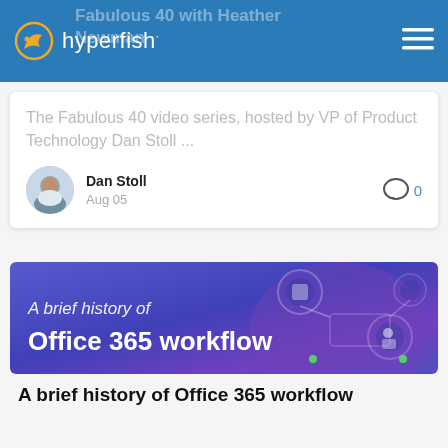hyperfish
Fabulous 40 with Heather Newman
The Fabulous 40 video series, hosted by VP of Product Technology Dan Stoll ...
Dan Stoll
Aug 05
[Figure (photo): Profile photo of Dan Stoll, a man smiling]
[Figure (infographic): Banner image with blue/purple gradient background and network workflow icons. Text reads: A brief history of / Office 365 workflow]
A brief history of Office 365 workflow